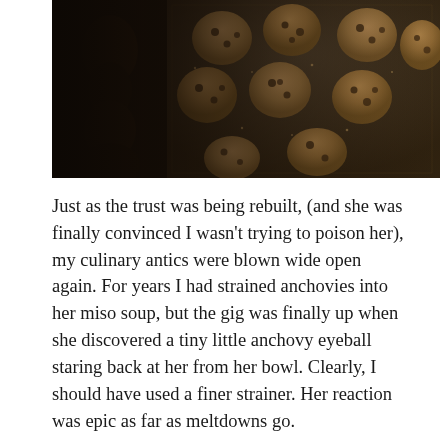[Figure (photo): Overhead photo of chocolate chip cookie dough balls on a dark, rustic metal baking sheet, dusted with sugar. A decorative carved wooden object is partially visible on the left side.]
Just as the trust was being rebuilt, (and she was finally convinced I wasn't trying to poison her), my culinary antics were blown wide open again. For years I had strained anchovies into her miso soup, but the gig was finally up when she discovered a tiny little anchovy eyeball staring back at her from her bowl. Clearly, I should have used a finer strainer. Her reaction was epic as far as meltdowns go.
Even now, I still mince yellow peppers (so finely that it might as well be a puree) into her spaghetti bolognese. The older she grows, the more her taste